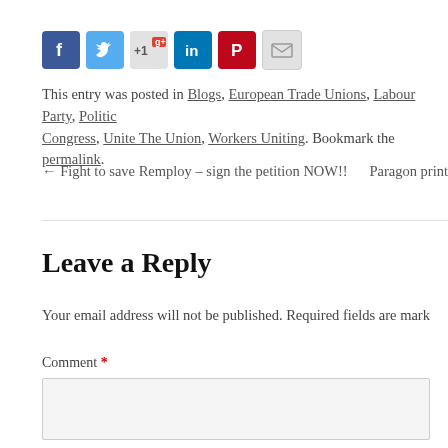[Figure (infographic): Row of social sharing icon buttons: Facebook (blue), Twitter (blue bird), Google+1 (light), LinkedIn (blue), Pinterest (red), Email (grey)]
This entry was posted in Blogs, European Trade Unions, Labour Party, Politics, Trades Union Congress, Unite The Union, Workers Uniting. Bookmark the permalink.
← Fight to save Remploy – sign the petition NOW!!    Paragon print
Leave a Reply
Your email address will not be published. Required fields are mark
Comment *